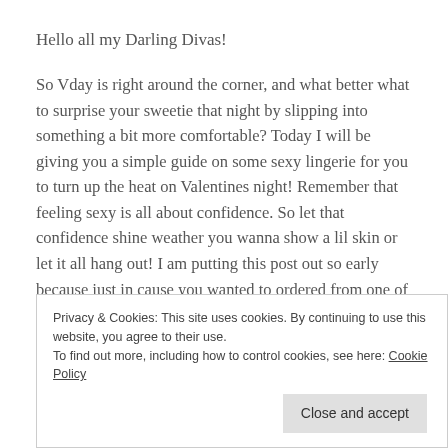Hello all my Darling Divas!
So Vday is right around the corner, and what better what to surprise your sweetie that night by slipping into something a bit more comfortable? Today I will be giving you a simple guide on some sexy lingerie for you to turn up the heat on Valentines night! Remember that feeling sexy is all about confidence. So let that confidence shine weather you wanna show a lil skin or let it all hang out! I am putting this post out so early because just in cause you wanted to ordered from one of the websites featured, you will have plenty of time for lingerie to arrive for that special night.
Privacy & Cookies: This site uses cookies. By continuing to use this website, you agree to their use. To find out more, including how to control cookies, see here: Cookie Policy
Close and accept